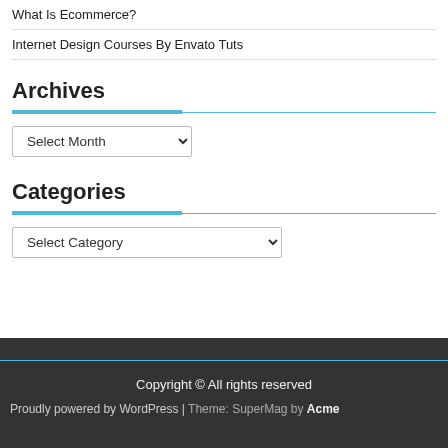What Is Ecommerce?
Internet Design Courses By Envato Tuts
Archives
Select Month (dropdown)
Categories
Select Category (dropdown)
Copyright © All rights reserved
Proudly powered by WordPress | Theme: SuperMag by Acme